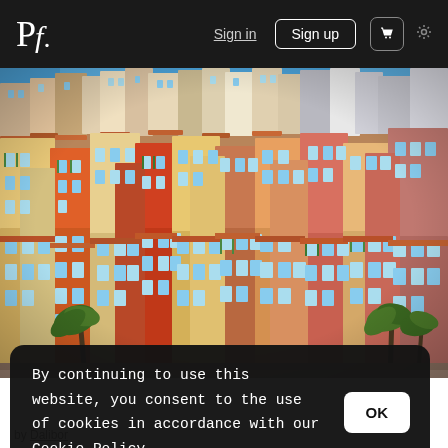Pf. | Sign in | Sign up | cart | settings
[Figure (photo): Colorful densely-packed Mediterranean hillside buildings with terracotta roofs, blue sky, and palm trees — a coastal French Riviera town (Menton/Cannes style)]
By continuing to use this website, you consent to the use of cookies in accordance with our Cookie Policy.
OK
by Dalibor